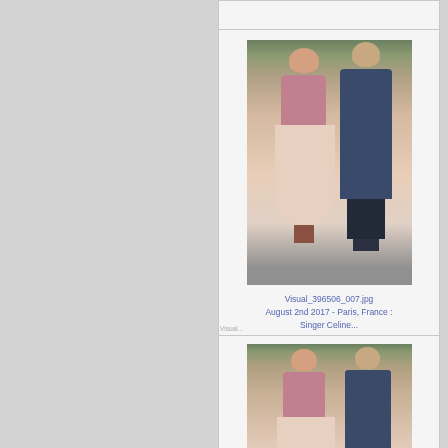[Figure (photo): Two people embracing or greeting near a building entrance; woman in pink top and long light pink skirt, man in dark suit]
Visual_396506_007.jpg
August 2nd 2017 - Paris, France : Singer Celine...
[Figure (photo): Woman in pink top and long light pink skirt standing near building entrance with people around her]
Visual_396506_006.jpg
August 2nd 2017 - Paris, France : Singer Celine...